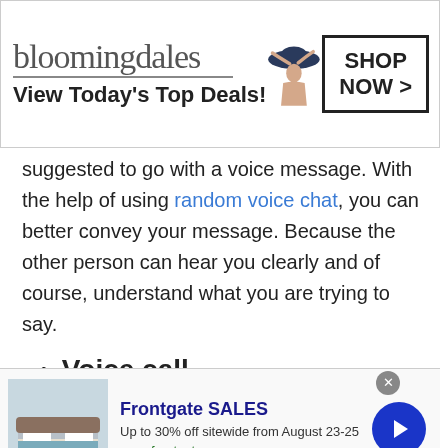[Figure (screenshot): Bloomingdale's advertisement banner: logo, tagline 'View Today's Top Deals!', woman with hat image, 'SHOP NOW >' button]
suggested to go with a voice message. With the help of using random voice chat, you can better convey your message. Because the other person can hear you clearly and of course, understand what you are trying to say.
Voice call
Do you want to talk to strangers in Angola for an unlimited duration? If yes, enjoy free voice calls all around the globe for an unlimited time period.
[Figure (screenshot): Frontgate SALES advertisement: bedroom image, text 'Up to 30% off sitewide from August 23-25', 'www.frontgate.com', blue arrow button, close X button]